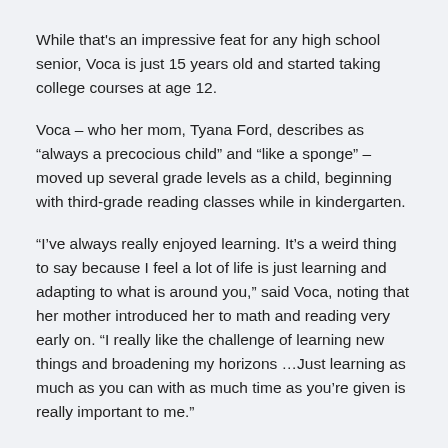While that's an impressive feat for any high school senior, Voca is just 15 years old and started taking college courses at age 12.
Voca – who her mom, Tyana Ford, describes as “always a precocious child” and “like a sponge” – moved up several grade levels as a child, beginning with third-grade reading classes while in kindergarten.
“I’ve always really enjoyed learning. It’s a weird thing to say because I feel a lot of life is just learning and adapting to what is around you,” said Voca, noting that her mother introduced her to math and reading very early on. “I really like the challenge of learning new things and broadening my horizons …Just learning as much as you can with as much time as you’re given is really important to me.”
See Full Article